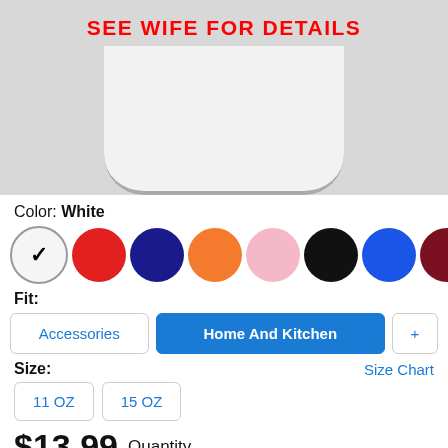[Figure (photo): Product photo of a white ceramic mug with 'SEE WIFE FOR DETAILS' printed in bold red text on the side, against a light gray background.]
Color: White
[Figure (infographic): Row of color swatches: White (selected with checkmark), Red, Navy, Orange, Pink, Black, Blue, Maroon, Dark Green]
Fit:
Accessories | Home And Kitchen | +
Size:
Size Chart
11 OZ
15 OZ
$13.99 Quantity